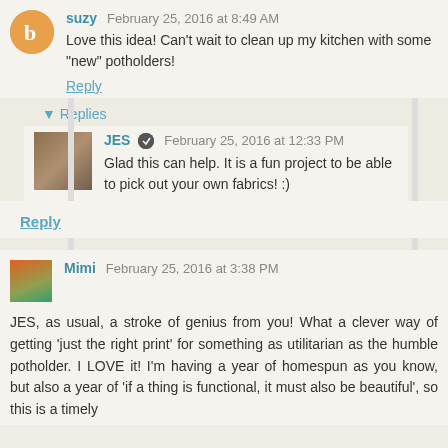suzy February 25, 2016 at 8:49 AM
Love this idea! Can't wait to clean up my kitchen with some "new" potholders!
Reply
▾ Replies
JES February 25, 2016 at 12:33 PM
Glad this can help. It is a fun project to be able to pick out your own fabrics! :)
Reply
Mimi February 25, 2016 at 3:38 PM
JES, as usual, a stroke of genius from you! What a clever way of getting 'just the right print' for something as utilitarian as the humble potholder. I LOVE it! I'm having a year of homespun as you know, but also a year of 'if a thing is functional, it must also be beautiful', so this is a timely